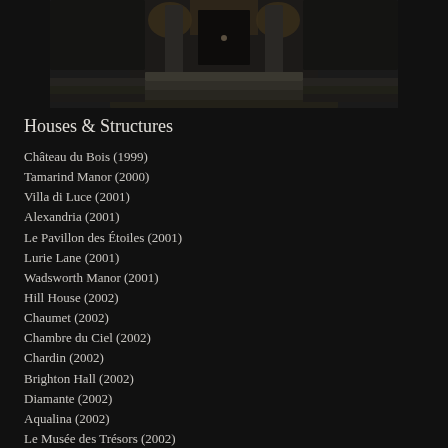[Figure (photo): Black and white photograph of a grand building entrance with large columns, a black door at top of wide stone steps, and illuminated lanterns on either side.]
Houses & Structures
Château du Bois (1999)
Tamarind Manor (2000)
Villa di Luce (2001)
Alexandria (2001)
Le Pavillon des Étoiles (2001)
Lurie Lane (2001)
Wadsworth Manor (2001)
Hill House (2002)
Chaumet (2002)
Chambre du Ciel (2002)
Chardin (2002)
Brighton Hall (2002)
Diamante (2002)
Aqualina (2002)
Le Musée des Trésors (2002)